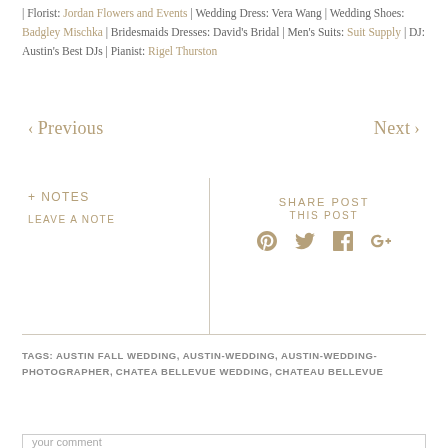| Florist: Jordan Flowers and Events | Wedding Dress: Vera Wang | Wedding Shoes: Badgley Mischka | Bridesmaids Dresses: David's Bridal | Men's Suits: Suit Supply | DJ: Austin's Best DJs | Pianist: Rigel Thurston
‹ Previous   Next ›
+ NOTES
LEAVE A NOTE
SHARE POST THIS POST
TAGS: AUSTIN FALL WEDDING, AUSTIN-WEDDING, AUSTIN-WEDDING-PHOTOGRAPHER, CHATEA BELLEVUE WEDDING, CHATEAU BELLEVUE
your comment